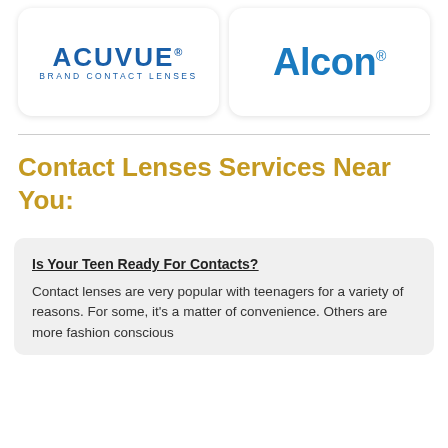[Figure (logo): ACUVUE Brand Contact Lenses logo in blue]
[Figure (logo): Alcon logo in blue]
Contact Lenses Services Near You:
Is Your Teen Ready For Contacts?
Contact lenses are very popular with teenagers for a variety of reasons. For some, it's a matter of convenience. Others are more fashion conscious